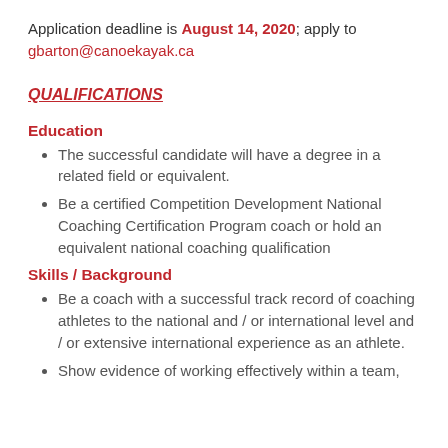Application deadline is August 14, 2020; apply to gbarton@canoekayak.ca
QUALIFICATIONS
Education
The successful candidate will have a degree in a related field or equivalent.
Be a certified Competition Development National Coaching Certification Program coach or hold an equivalent national coaching qualification
Skills / Background
Be a coach with a successful track record of coaching athletes to the national and / or international level and / or extensive international experience as an athlete.
Show evidence of working effectively within a team,